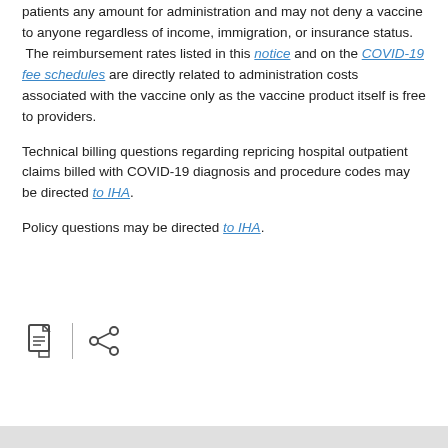patients any amount for administration and may not deny a vaccine to anyone regardless of income, immigration, or insurance status. The reimbursement rates listed in this notice and on the COVID-19 fee schedules are directly related to administration costs associated with the vaccine only as the vaccine product itself is free to providers.
Technical billing questions regarding repricing hospital outpatient claims billed with COVID-19 diagnosis and procedure codes may be directed to IHA.
Policy questions may be directed to IHA.
[Figure (other): PDF icon and share icon with a vertical divider between them]